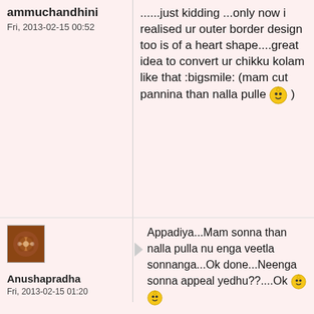ammuchandhini
Fri, 2013-02-15 00:52
......just kidding ...only now i realised ur outer border design too is of a heart shape....great idea to convert ur chikku kolam like that :bigsmile: (mam cut pannina than nalla pulle [emoji] )
[Figure (photo): Small decorative avatar image with floral/mandala pattern in brown and orange tones]
Anushapradha
Fri, 2013-02-15 01:20
Appadiya...Mam sonna than nalla pulla nu enga veetla sonnanga...Ok done...Neenga sonna appeal yedhu??....Ok [emoji] [emoji]